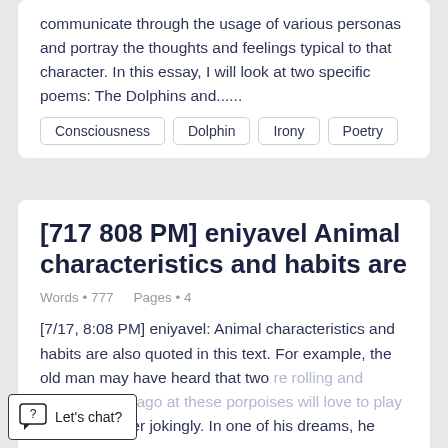communicate through the usage of various personas and portray the thoughts and feelings typical to that character. In this essay, I will look at two specific poems: The Dolphins and......
Consciousness
Dolphin
Irony
Poetry
[717 808 PM] eniyavel Animal characteristics and habits are
Words • 777    Pages • 4
[7/17, 8:08 PM] eniyavel: Animal characteristics and habits are also quoted in this text. For example, the old man may have heard that two are rolling and blowing. Santiago also states that these porpoises will love to play with each other jokingly. In one of his dreams, he